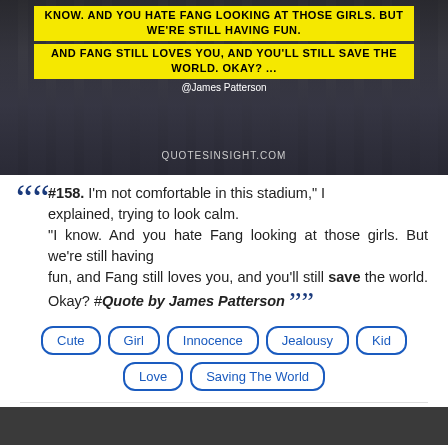[Figure (photo): Dark cityscape background with yellow highlighted quote text: 'KNOW. AND YOU HATE FANG LOOKING AT THOSE GIRLS. BUT WE'RE STILL HAVING FUN, AND FANG STILL LOVES YOU, AND YOU'LL STILL SAVE THE WORLD. OKAY? ...' attributed to @James Patterson, with QUOTESINSIGHT.COM watermark]
““ #158. I'm not comfortable in this stadium," I explained, trying to look calm. "I know. And you hate Fang looking at those girls. But we're still having fun, and Fang still loves you, and you'll still save the world. Okay? #Quote by James Patterson ””
Cute
Girl
Innocence
Jealousy
Kid
Love
Saving The World